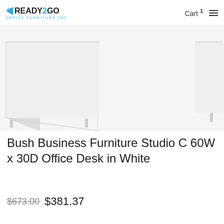READY2GO OFFICE FURNITURE INC — Cart 1
[Figure (photo): A white office desk (Bush Business Furniture Studio C 60W x 30D) photographed on a white background, showing the desk surface and legs partially cropped.]
Bush Business Furniture Studio C 60W x 30D Office Desk in White
$673.00 $381.37